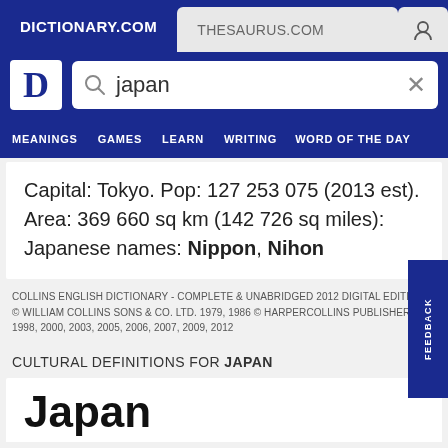DICTIONARY.COM   THESAURUS.COM
Capital: Tokyo. Pop: 127 253 075 (2013 est). Area: 369 660 sq km (142 726 sq miles): Japanese names: Nippon, Nihon
COLLINS ENGLISH DICTIONARY - COMPLETE & UNABRIDGED 2012 DIGITAL EDITION
© WILLIAM COLLINS SONS & CO. LTD. 1979, 1986 © HARPERCOLLINS PUBLISHERS 1998, 2000, 2003, 2005, 2006, 2007, 2009, 2012
CULTURAL DEFINITIONS FOR JAPAN
Japan